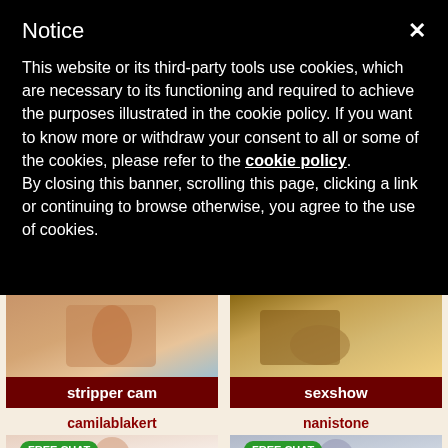Notice
This website or its third-party tools use cookies, which are necessary to its functioning and required to achieve the purposes illustrated in the cookie policy. If you want to know more or withdraw your consent to all or some of the cookies, please refer to the cookie policy.
By closing this banner, scrolling this page, clicking a link or continuing to browse otherwise, you agree to the use of cookies.
[Figure (photo): Photo showing a tanned woman's torso in a bikini bottom near a pool]
stripper cam
camilablakert
[Figure (photo): Photo showing a woman's legs in leopard print boots on a wooden floor]
sexshow
nanistone
[Figure (photo): Photo of a young woman with long dark hair smiling, FREE CHAT badge overlay]
[Figure (photo): Photo of a young woman with dark hair in a dark jacket, FREE CHAT badge overlay]